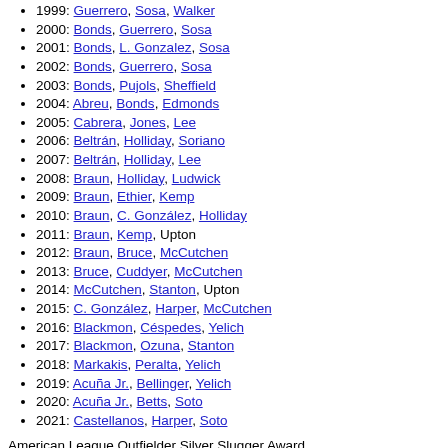1999: Guerrero, Sosa, Walker
2000: Bonds, Guerrero, Sosa
2001: Bonds, L. Gonzalez, Sosa
2002: Bonds, Guerrero, Sosa
2003: Bonds, Pujols, Sheffield
2004: Abreu, Bonds, Edmonds
2005: Cabrera, Jones, Lee
2006: Beltrán, Holliday, Soriano
2007: Beltrán, Holliday, Lee
2008: Braun, Holliday, Ludwick
2009: Braun, Ethier, Kemp
2010: Braun, C. González, Holliday
2011: Braun, Kemp, Upton
2012: Braun, Bruce, McCutchen
2013: Bruce, Cuddyer, McCutchen
2014: McCutchen, Stanton, Upton
2015: C. González, Harper, McCutchen
2016: Blackmon, Céspedes, Yelich
2017: Blackmon, Ozuna, Stanton
2018: Markakis, Peralta, Yelich
2019: Acuña Jr., Bellinger, Yelich
2020: Acuña Jr., Betts, Soto
2021: Castellanos, Harper, Soto
American League Outfielder Silver Slugger Award